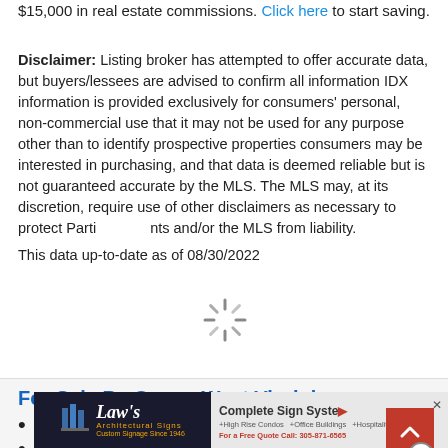$15,000 in real estate commissions. Click here to start saving.
Disclaimer: Listing broker has attempted to offer accurate data, but buyers/lessees are advised to confirm all information IDX information is provided exclusively for consumers' personal, non-commercial use that it may not be used for any purpose other than to identify prospective properties consumers may be interested in purchasing, and that data is deemed reliable but is not guaranteed accurate by the MLS. The MLS may, at its discretion, require use of other disclaimers as necessary to protect Participants and/or the MLS from liability.
This data up-to-date as of 08/30/2022
For Sale By Owner West Virginia
Homes For Sale Byowner in Bridgeport (1)
Homes For Sale Byowner in Star City (1)
[Figure (other): Law's Architectural Signs advertisement banner - Complete Sign Systems]